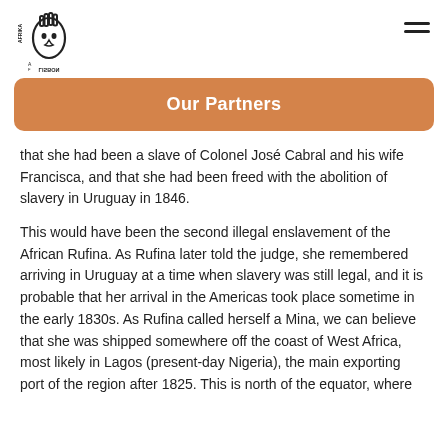Afrika Lisbon logo and navigation menu
Our Partners
that she had been a slave of Colonel José Cabral and his wife Francisca, and that she had been freed with the abolition of slavery in Uruguay in 1846.
This would have been the second illegal enslavement of the African Rufina. As Rufina later told the judge, she remembered arriving in Uruguay at a time when slavery was still legal, and it is probable that her arrival in the Americas took place sometime in the early 1830s. As Rufina called herself a Mina, we can believe that she was shipped somewhere off the coast of West Africa, most likely in Lagos (present-day Nigeria), the main exporting port of the region after 1825. This is north of the equator, where the trafficking of slaves had been prohibited since 1815.